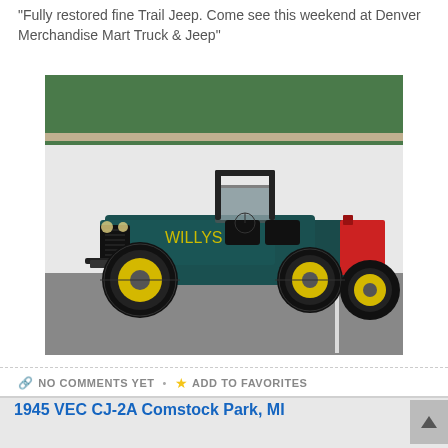"Fully restored fine Trail Jeep. Come see this weekend at Denver Merchandise Mart Truck & Jeep"
[Figure (photo): A fully restored classic Willys Jeep CJ in dark teal/green color with bright yellow wheels, photographed in a parking lot against a white wall with greenery in the background. A red gas can is visible in the rear cargo area.]
NO COMMENTS YET • ADD TO FAVORITES
1945 VEC CJ-2A Comstock Park, MI